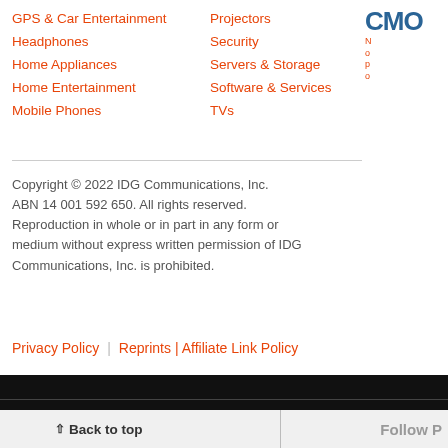GPS & Car Entertainment
Headphones
Home Appliances
Home Entertainment
Mobile Phones
Projectors
Security
Servers & Storage
Software & Services
TVs
CMO
Copyright © 2022 IDG Communications, Inc. ABN 14 001 592 650. All rights reserved. Reproduction in whole or in part in any form or medium without express written permission of IDG Communications, Inc. is prohibited.
Privacy Policy | Reprints | Affiliate Link Policy
Back to top  Follow P